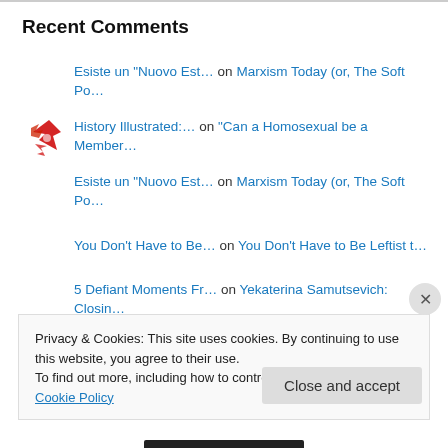Recent Comments
Esiste un “Nuovo Est… on Marxism Today (or, The Soft Po…
History Illustrated:… on “Can a Homosexual be a Member…
Esiste un “Nuovo Est… on Marxism Today (or, The Soft Po…
You Don’t Have to Be… on You Don’t Have to Be Leftist t…
5 Defiant Moments Fr… on Yekaterina Samutsevich: Closin…
Privacy & Cookies: This site uses cookies. By continuing to use this website, you agree to their use.
To find out more, including how to control cookies, see here: Cookie Policy
Close and accept